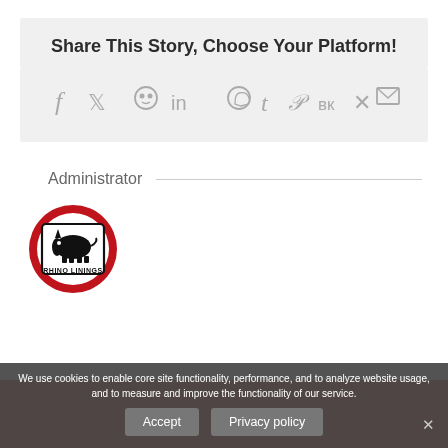Share This Story, Choose Your Platform!
[Figure (infographic): Row of social media sharing icons: Facebook, Twitter, Reddit, LinkedIn, WhatsApp, Tumblr, Pinterest, VK, Xing, Email]
Administrator
[Figure (logo): Rhino Linings logo: circular red badge with a black rhino graphic and 'RHINO LININGS' text]
We use cookies to enable core site functionality, performance, and to analyze website usage, and to measure and improve the functionality of our service.
Accept   Privacy policy